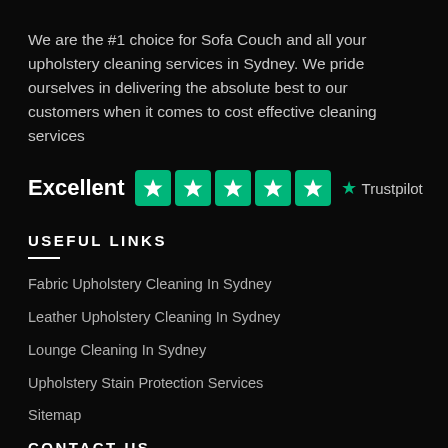We are the #1 choice for Sofa Couch and all your upholstery cleaning services in Sydney. We pride ourselves in delivering the absolute best to our customers when it comes to cost effective cleaning services
[Figure (logo): Trustpilot rating showing 'Excellent' with 5 green star boxes and Trustpilot logo]
USEFUL LINKS
Fabric Upholstery Cleaning In Sydney
Leather Upholstery Cleaning In Sydney
Lounge Cleaning In Sydney
Upholstery Stain Protection Services
Sitemap
CONTACT US